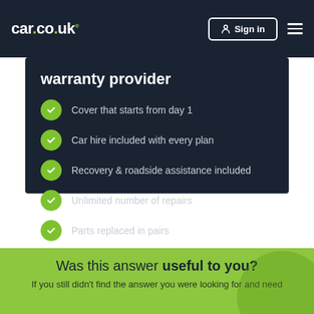car.co.uk — Sign in
warranty provider
Cover that starts from day 1
Car hire included with every plan
Recovery & roadside assistance included
Unlimited number of repairs
Parts replaced in pairs
No charge for betterment
Was this answer useful to you?
If you still didn't find the answer you were looking for and need